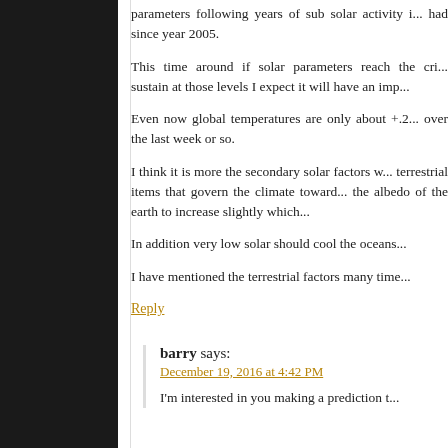parameters following years of sub solar activity i... had since year 2005.
This time around if solar parameters reach the cri... sustain at those levels I expect it will have an imp...
Even now global temperatures are only about +.2... over the last week or so.
I think it is more the secondary solar factors w... terrestrial items that govern the climate toward... the albedo of the earth to increase slightly which...
In addition very low solar should cool the oceans...
I have mentioned the terrestrial factors many time...
Reply
barry says:
December 19, 2016 at 4:42 PM
I'm interested in you making a prediction t...